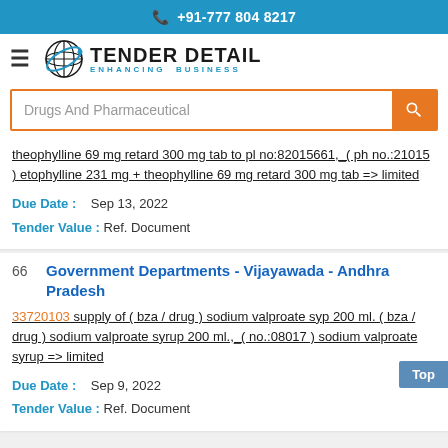+91-777 804 8217
[Figure (logo): Tender Detail logo with globe icon and tagline ENHANCING BUSINESS]
Drugs And Pharmaceutical
theophylline 69 mg retard 300 mg tab to pl no:82015661,_( ph no.:21015 ) etophylline 231 mg + theophylline 69 mg retard 300 mg tab => limited
Due Date : Sep 13, 2022
Tender Value : Ref. Document
66  Government Departments - Vijayawada - Andhra Pradesh
33720103 supply of ( bza / drug ) sodium valproate syrup 200 ml. ( bza / drug ) sodium valproate syrup 200 ml.,_( no.:08017 ) sodium valproate syrup => limited
Due Date : Sep 9, 2022
Tender Value : Ref. Document